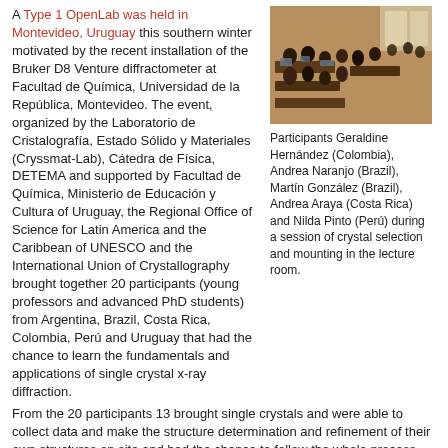A Type 1 OpenLab was held in Montevideo, Uruguay this southern winter motivated by the recent installation of the Bruker D8 Venture diffractometer at Facultad de Química, Universidad de la República, Montevideo. The event, organized by the Laboratorio de Cristalografía, Estado Sólido y Materiales (Cryssmat-Lab), Cátedra de Física, DETEMA and supported by Facultad de Química, Ministerio de Educación y Cultura of Uruguay, the Regional Office of Science for Latin America and the Caribbean of UNESCO and the International Union of Crystallography brought together 20 participants (young professors and advanced PhD students) from Argentina, Brazil, Costa Rica, Colombia, Perú and Uruguay that had the chance to learn the fundamentals and applications of single crystal x-ray diffraction. From the 20 participants 13 brought single crystals and were able to collect data and make the structure determination and refinement of their own structures on site and had the chance to follow the whole process form crystal mounting to CIF preparation with their own samples and results.
[Figure (photo): Photo of participants in a lecture room working on crystal selection and mounting]
Participants Geraldine Hernández (Colombia), Andrea Naranjo (Brazil), Martín González (Brazil), Andrea Araya (Costa Rica) and Nilda Pinto (Perú) during a session of crystal selection and mounting in the lecture room.
The OpenLab program included 14 hours of Lectures and 12 hours of Practical sessions on history and fundamentals of